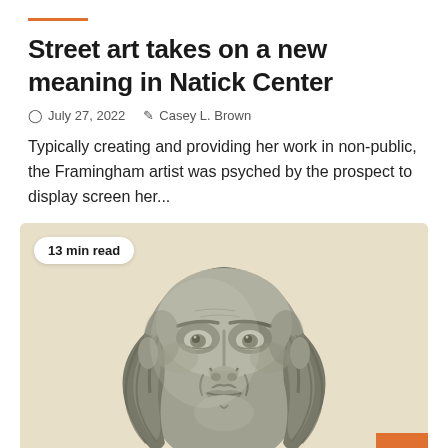Street art takes on a new meaning in Natick Center
July 27, 2022   Casey L. Brown
Typically creating and providing her work in non-public, the Framingham artist was psyched by the prospect to display screen her...
[Figure (photo): Grayscale illustration/drawing of a detailed classical bust sculpture of a man with long flowing hair, on a light beige background. A '13 min read' badge is in the top left corner, and an orange scroll-to-top button is in the bottom right.]